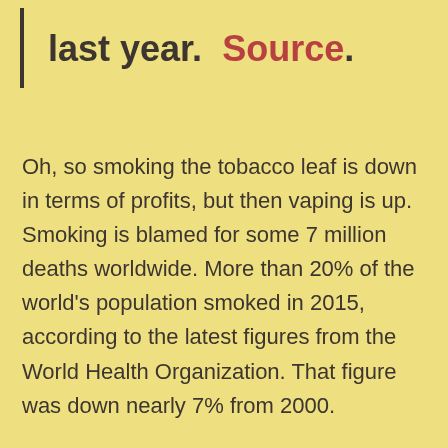last year.  Source.
Oh, so smoking the tobacco leaf is down in terms of profits, but then vaping is up. Smoking is blamed for some 7 million deaths worldwide. More than 20% of the world's population smoked in 2015, according to the latest figures from the World Health Organization. That figure was down nearly 7% from 2000.
Not enough to illustrate why a plan-demic is not so far-fetched in the minds of the World Economic Forum